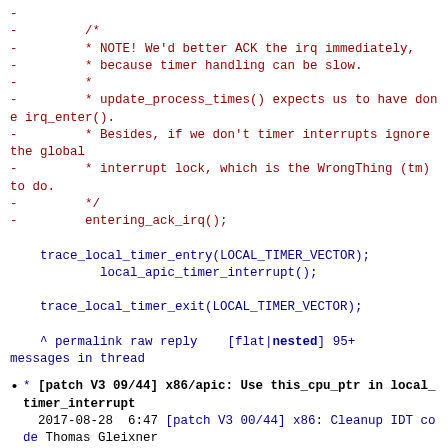- -
-         /*
-         * NOTE! We'd better ACK the irq immediately,
-         * because timer handling can be slow.
-         *
-         * update_process_times() expects us to have done irq_enter().
-         * Besides, if we don't timer interrupts ignore the global
-         * interrupt lock, which is the WrongThing (tm) to do.
-         */
-         entering_ack_irq();

    trace_local_timer_entry(LOCAL_TIMER_VECTOR);
            local_apic_timer_interrupt();

    trace_local_timer_exit(LOCAL_TIMER_VECTOR);

    ^ permalink raw reply    [flat|nested] 95+ messages in thread
* [patch V3 09/44] x86/apic: Use this_cpu_ptr in local_timer_interrupt
    2017-08-28  6:47 [patch V3 00/44] x86: Cleanup IDT code Thomas Gleixner
                      ` (7 preceding siblings ...)
    2017-08-28  6:47 ` [patch V3 08/44] x86/apic: